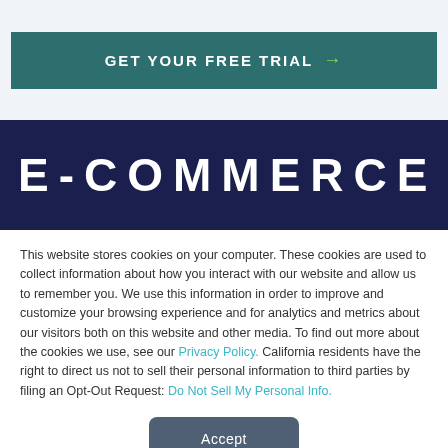[Figure (screenshot): Dark teal button with text GET YOUR FREE TRIAL and a green arrow]
E-COMMERCE
This website stores cookies on your computer. These cookies are used to collect information about how you interact with our website and allow us to remember you. We use this information in order to improve and customize your browsing experience and for analytics and metrics about our visitors both on this website and other media. To find out more about the cookies we use, see our Privacy Policy. California residents have the right to direct us not to sell their personal information to third parties by filing an Opt-Out Request: Do Not Sell My Personal Info.
[Figure (screenshot): Accept button in dark slate blue/gray rounded rectangle]